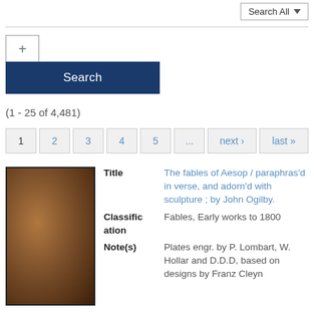Search All
+
Search
(1 - 25 of 4,481)
1  2  3  4  5  ...  next›  last»
[Figure (photo): Brown leather book cover thumbnail]
Title  The fables of Aesop / paraphras'd in verse, and adorn'd with sculpture ; by John Ogilby.
Classification  Fables, Early works to 1800
Note(s)  Plates engr. by P. Lombart, W. Hollar and D.D.D, based on designs by Franz Cleyn